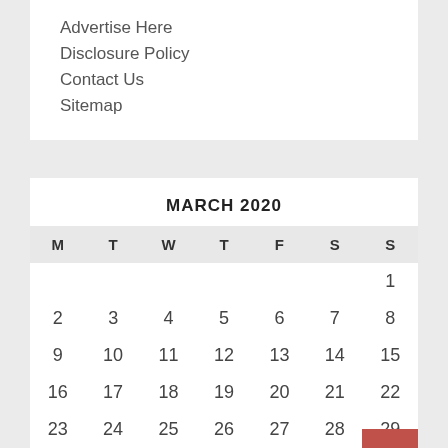Advertise Here
Disclosure Policy
Contact Us
Sitemap
MARCH 2020
| M | T | W | T | F | S | S |
| --- | --- | --- | --- | --- | --- | --- |
|  |  |  |  |  |  | 1 |
| 2 | 3 | 4 | 5 | 6 | 7 | 8 |
| 9 | 10 | 11 | 12 | 13 | 14 | 15 |
| 16 | 17 | 18 | 19 | 20 | 21 | 22 |
| 23 | 24 | 25 | 26 | 27 | 28 | 29 |
| 30 | 31 |  |  |  |  |  |